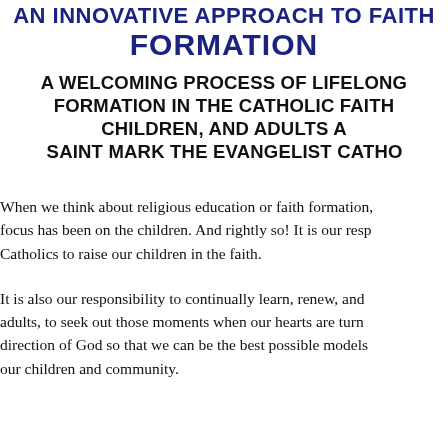AN INNOVATIVE APPROACH TO FAITH FORMATION
A WELCOMING PROCESS OF LIFELONG FORMATION IN THE CATHOLIC FAITH FOR CHILDREN, AND ADULTS AT SAINT MARK THE EVANGELIST CATHOLIC
When we think about religious education or faith formation, the focus has been on the children. And rightly so! It is our responsibility as Catholics to raise our children in the faith.
It is also our responsibility to continually learn, renew, and grow as adults, to seek out those moments when our hearts are turned in the direction of God so that we can be the best possible models of faith for our children and community.